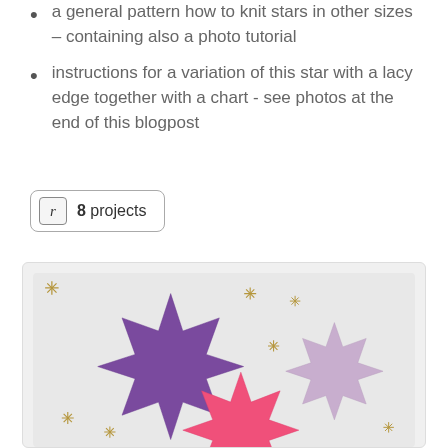a general pattern how to knit stars in other sizes – containing also a photo tutorial
instructions for a variation of this star with a lacy edge together with a chart - see photos at the end of this blogpost
[Figure (screenshot): Badge showing 'r' icon and '8 projects' text in a rounded rectangle border]
[Figure (photo): Photo of three knitted stars: a large purple star, a medium pink star, and a smaller lavender star, on a white background with small gold star decorations scattered around]